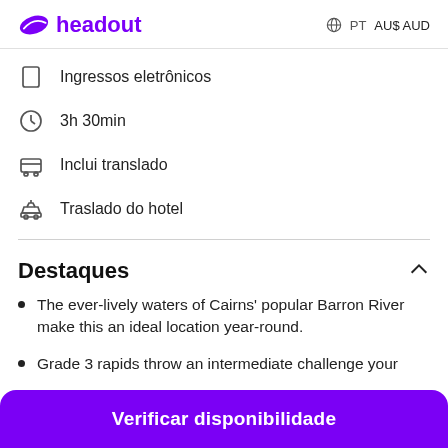headout | PT AU$ AUD
Ingressos eletrônicos
3h 30min
Inclui translado
Traslado do hotel
Destaques
The ever-lively waters of Cairns' popular Barron River make this an ideal location year-round.
Grade 3 rapids throw an intermediate challenge your
Verificar disponibilidade